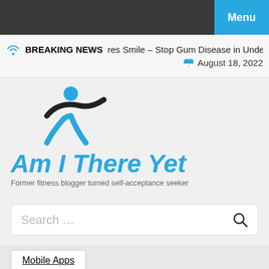Menu
BREAKING NEWS  res Smile – Stop Gum Disease in Under  August 18, 2022
[Figure (logo): Am I There Yet blog logo — running figure icon in blue and black above italic blue text 'Am I There Yet' with subtitle 'Former fitness blogger turned self-acceptance seeker']
Search …
Mobile Apps